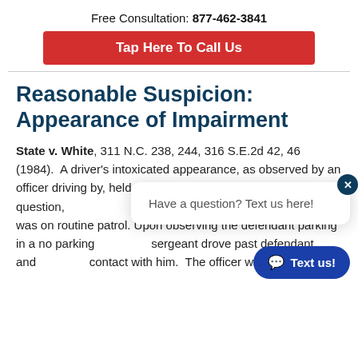Free Consultation: 877-462-3841
[Figure (other): Red button reading 'Tap Here To Call Us']
Reasonable Suspicion: Appearance of Impairment
State v. White, 311 N.C. 238, 244, 316 S.E.2d 42, 46 (1984). A driver's intoxicated appearance, as observed by an officer driving by, held to question, o was on routine patrol. Upon observing the defendant parking in a no parking sergeant drove past defendant and contact with him. The officer was of the